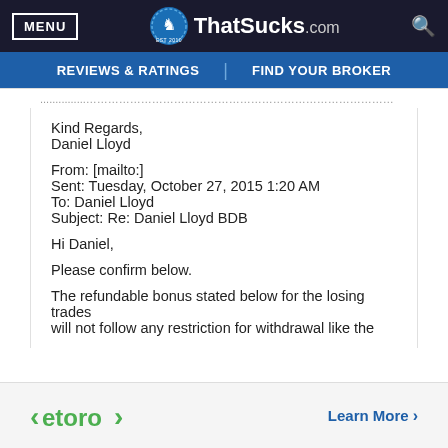MENU | ThatSucks.com | REVIEWS & RATINGS | FIND YOUR BROKER
Kind Regards,
Daniel Lloyd

From: [mailto:]
Sent: Tuesday, October 27, 2015 1:20 AM
To: Daniel Lloyd
Subject: Re: Daniel Lloyd BDB

Hi Daniel,

Please confirm below.

The refundable bonus stated below for the losing trades will not follow any restriction for withdrawal like the
[Figure (logo): eToro logo and Learn More link advertisement banner]